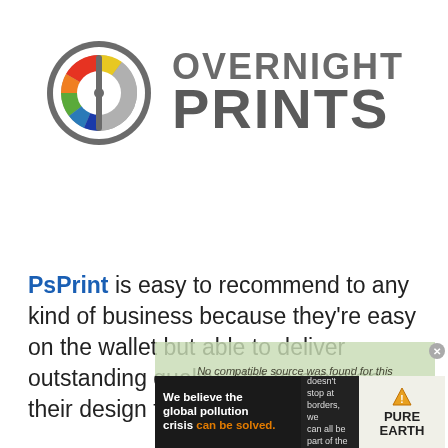[Figure (logo): Overnight Prints logo: circular icon with color segments on left half and gray on right, beside bold text 'OVERNIGHT PRINTS' in gray]
PsPrint is easy to recommend to any kind of business because they're easy on the wallet but able to deliver outstanding quality. Not to mention their design tools are unrivaled. For
[Figure (screenshot): Overlay showing 'No compatible source was found for this media.' text over a greenish background, with a close button]
[Figure (infographic): Pure Earth advertisement banner: dark background with text 'We believe the global pollution crisis can be solved.' on left, center text 'In a world where pollution doesn't stop at borders, we can all be part of the solution. JOIN US.' and Pure Earth logo on right]